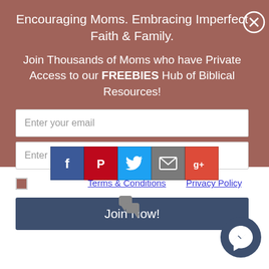Encouraging Moms. Embracing Imperfect Faith & Family.
Join Thousands of Moms who have Private Access to our FREEBIES Hub of Biblical Resources!
Enter your email
Enter first name
I agree to the Terms & Conditions and Privacy Policy.
Join Now!
[Figure (infographic): Row of 5 social media share buttons: Facebook (blue), Pinterest (red), Twitter (blue), Email (gray), Google+ (red)]
[Figure (illustration): Small speech bubble icon in gray]
[Figure (illustration): Facebook Messenger circular button icon in dark navy blue]